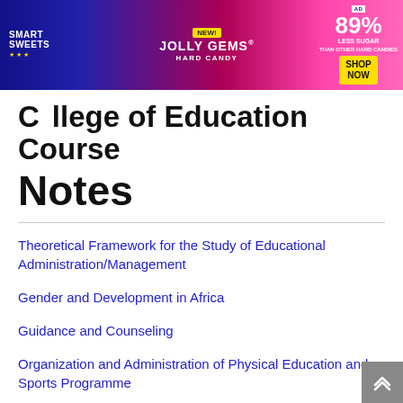[Figure (photo): Advertisement banner for Smart Sweets Jolly Gems Hard Candy - 89% Less Sugar than other hard candies, Shop Now button]
College of Education Course Notes
Theoretical Framework for the Study of Educational Administration/Management
Gender and Development in Africa
Guidance and Counseling
Organization and Administration of Physical Education and Sports Programme